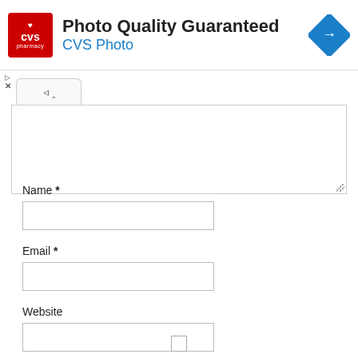[Figure (screenshot): CVS Pharmacy advertisement banner with red logo, 'Photo Quality Guaranteed' headline, 'CVS Photo' subtitle in blue, and a blue diamond navigation arrow icon on the right]
[Figure (screenshot): Web form with a collapsed comment textarea (showing collapse chevron tab), followed by Name, Email, and Website input fields, and a checkbox at the bottom]